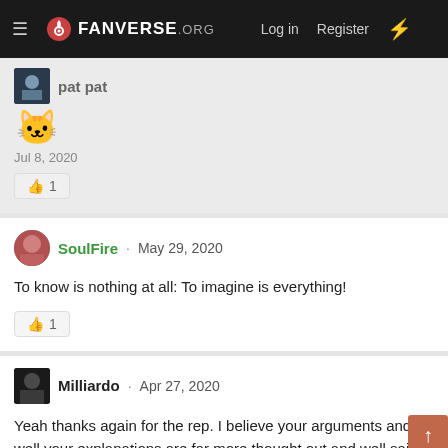FANVERSE.ORG  Log in  Register
pat pat
Jul 8, 2020
👍 1
SoulFire · May 29, 2020
To know is nothing at all: To imagine is everything!
👍 1
Milliardo · Apr 27, 2020
Yeah thanks again for the rep. I believe your arguments and well your explanations are far more thought out and well said. You have the courtesy to boot.